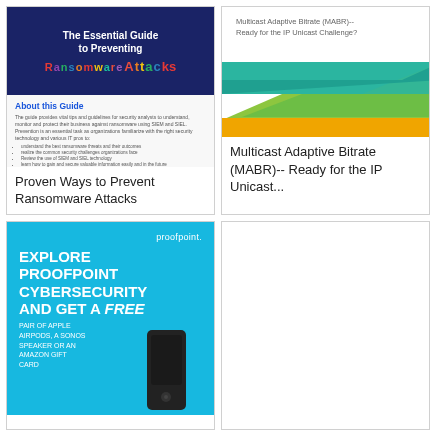[Figure (illustration): Book cover: The Essential Guide to Preventing Ransomware Attacks, dark navy background with colorful mixed-font ransomware title; inner page showing About this Guide section with body text and bullet points]
Proven Ways to Prevent Ransomware Attacks
[Figure (illustration): White cover with grey text: Multicast Adaptive Bitrate (MABR)-- Ready for the IP Unicast Challenge? with teal, green, and yellow angular graphic/logo at bottom]
Multicast Adaptive Bitrate (MABR)-- Ready for the IP Unicast...
[Figure (illustration): Proofpoint cyan/blue cover with white bold text: EXPLORE PROOFPOINT CYBERSECURITY AND GET A FREE PAIR OF APPLE AIRPODS, A SONOS SPEAKER OR AN AMAZON GIFT CARD, with image of dark speaker/device on right]